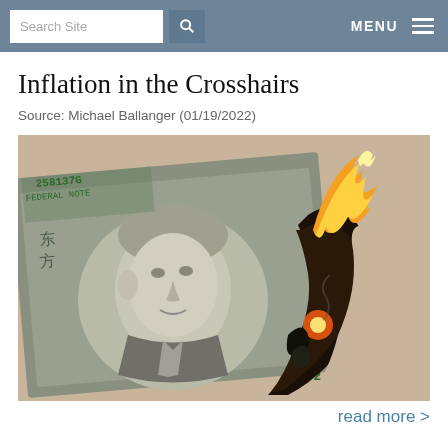Search Site | MENU
Inflation in the Crosshairs
Source: Michael Ballanger (01/19/2022)
[Figure (photo): A US $100 dollar bill burning with visible flame and charred edges, showing Benjamin Franklin's portrait and partial serial numbers 258137G and XF2]
read more >